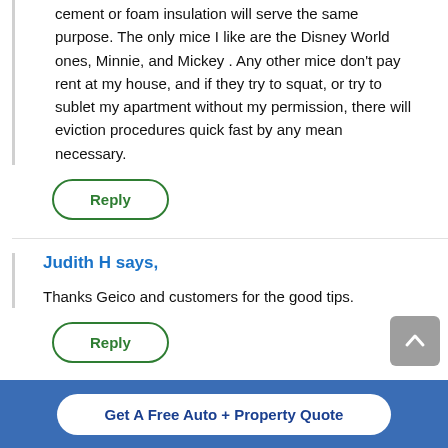cement or foam insulation will serve the same purpose. The only mice I like are the Disney World ones, Minnie, and Mickey . Any other mice don't pay rent at my house, and if they try to squat, or try to sublet my apartment without my permission, there will eviction procedures quick fast by any mean necessary.
Reply
Judith H says,
Thanks Geico and customers for the good tips.
Reply
Get A Free Auto + Property Quote